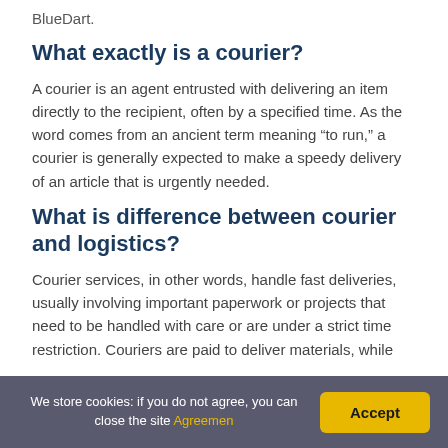BlueDart.
What exactly is a courier?
A courier is an agent entrusted with delivering an item directly to the recipient, often by a specified time. As the word comes from an ancient term meaning “to run,” a courier is generally expected to make a speedy delivery of an article that is urgently needed.
What is difference between courier and logistics?
Courier services, in other words, handle fast deliveries, usually involving important paperwork or projects that need to be handled with care or are under a strict time restriction. Couriers are paid to deliver materials, while
We store cookies: if you do not agree, you can close the site Agreemen